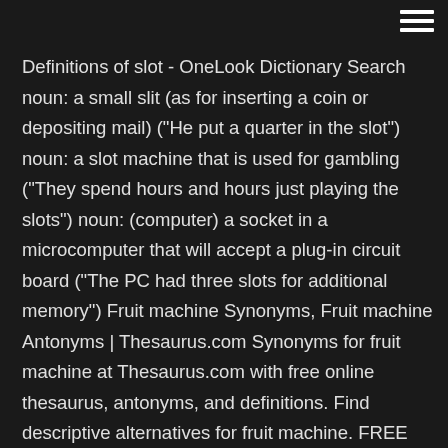Definitions of slot - OneLook Dictionary Search noun: a small slit (as for inserting a coin or depositing mail) ("He put a quarter in the slot") noun: a slot machine that is used for gambling ("They spend hours and hours just playing the slots") noun: (computer) a socket in a microcomputer that will accept a plug-in circuit board ("The PC had three slots for additional memory") Fruit machine Synonyms, Fruit machine Antonyms | Thesaurus.com Synonyms for fruit machine at Thesaurus.com with free online thesaurus, antonyms, and definitions. Find descriptive alternatives for fruit machine. FREE Online Slot Machines! Welcome to the best place to play FREE online slots and video poker. Choose from 30+ totally FREE 3-reel and 5-reel slots. No installation or download needed, just ... 15 most common